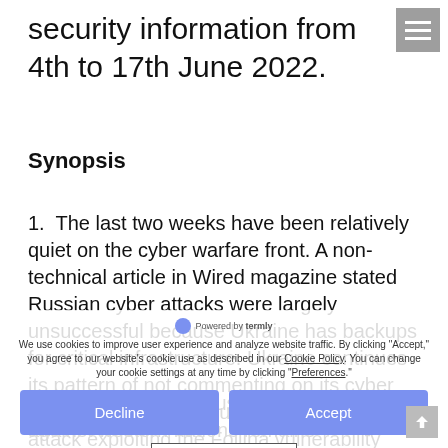security information from 4th to 17th June 2022.
Synopsis
1.  The last two weeks have been relatively quiet on the cyber warfare front. A non-technical article in Wired magazine stated Russian cyber attacks were largely unsuccessful because Ukraine has backups for critical infrastructure. Ukraine continues its pattern of not commenting on its cyber operations. Russia is using a new malware attack exploiting the Follina vulnerability against Ukrainians.
2.  The forecast for Russia cyber attacks against western nations remains unchanged. The